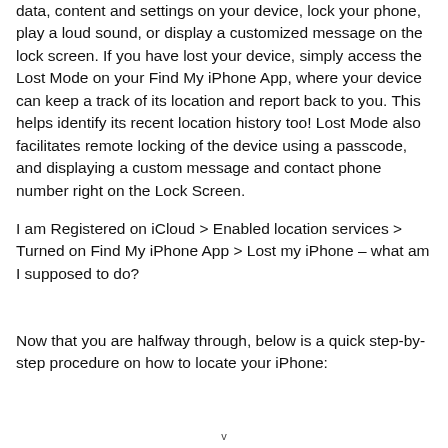data, content and settings on your device, lock your phone, play a loud sound, or display a customized message on the lock screen. If you have lost your device, simply access the Lost Mode on your Find My iPhone App, where your device can keep a track of its location and report back to you. This helps identify its recent location history too! Lost Mode also facilitates remote locking of the device using a passcode, and displaying a custom message and contact phone number right on the Lock Screen.
I am Registered on iCloud > Enabled location services > Turned on Find My iPhone App > Lost my iPhone – what am I supposed to do?
Now that you are halfway through, below is a quick step-by-step procedure on how to locate your iPhone:
v